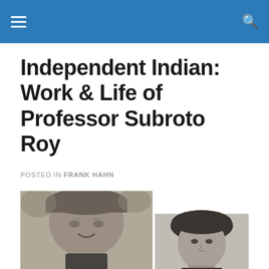Independent Indian: Work & Life of Professor Subroto Roy
POSTED IN FRANK HAHN
[Figure (photo): Black and white composite photo: left image shows an older man smiling, wearing a cap, outdoors; right image shows a younger man with dark hair, a profile/semi-profile portrait.]